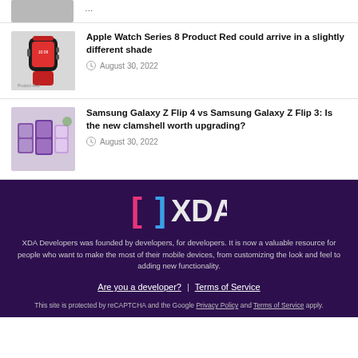[Figure (screenshot): Partial top article thumbnail clipped at top]
Apple Watch Series 8 Product Red could arrive in a slightly different shade — August 30, 2022
Samsung Galaxy Z Flip 4 vs Samsung Galaxy Z Flip 3: Is the new clamshell worth upgrading? — August 30, 2022
[Figure (logo): XDA Developers logo in pink/purple on dark purple background]
XDA Developers was founded by developers, for developers. It is now a valuable resource for people who want to make the most of their mobile devices, from customizing the look and feel to adding new functionality.
Are you a developer? | Terms of Service
This site is protected by reCAPTCHA and the Google Privacy Policy and Terms of Service apply.